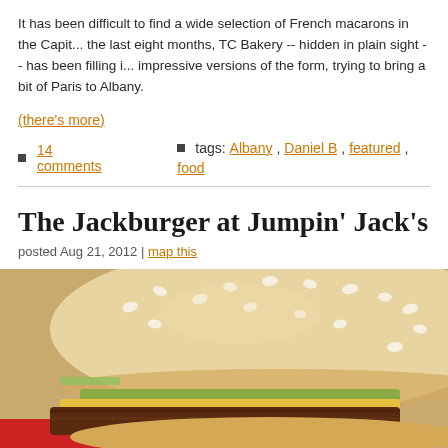It has been difficult to find a wide selection of French macarons in the Capit... the last eight months, TC Bakery -- hidden in plain sight -- has been filling i... impressive versions of the form, trying to bring a bit of Paris to Albany.
(there's more)
■ 14 comments   ■ tags: Albany, Daniel B, featured, food
The Jackburger at Jumpin' Jack's
posted Aug 21, 2012 | map this
[Figure (photo): Close-up photo of a hamburger with sesame seed bun, showing the top bun prominently with pickles and meat patty visible, on a red tray]